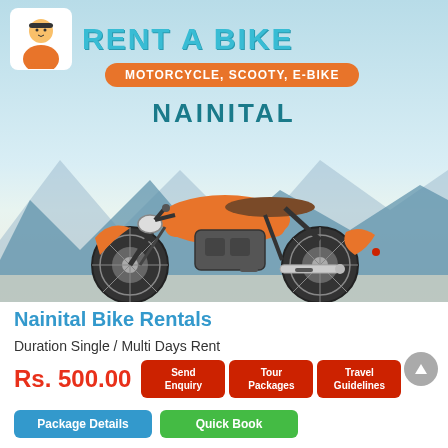RENT A BIKE
MOTORCYCLE, SCOOTY, E-BIKE
NAINITAL
[Figure (illustration): Orange classic motorcycle illustration with mountains in background]
Nainital Bike Rentals
Duration Single / Multi Days Rent
Rs. 500.00
Send Enquiry
Tour Packages
Travel Guidelines
Package Details
Quick Book